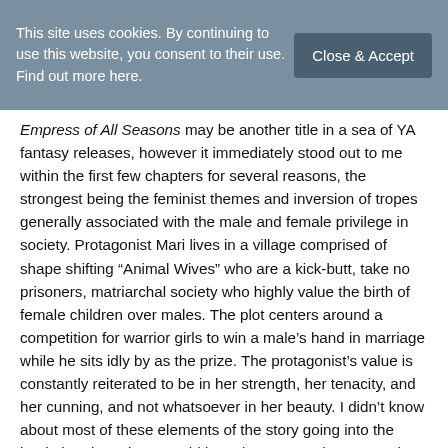This site uses cookies. By continuing to use this website, you consent to their use. Find out more here.  Close & Accept
Empress of All Seasons may be another title in a sea of YA fantasy releases, however it immediately stood out to me within the first few chapters for several reasons, the strongest being the feminist themes and inversion of tropes generally associated with the male and female privilege in society. Protagonist Mari lives in a village comprised of shape shifting “Animal Wives” who are a kick-butt, take no prisoners, matriarchal society who highly value the birth of female children over males. The plot centers around a competition for warrior girls to win a male’s hand in marriage while he sits idly by as the prize. The protagonist’s value is constantly reiterated to be in her strength, her tenacity, and her cunning, and not whatsoever in her beauty. I didn’t know about most of these elements of the story going into the book, but they alone would have been enough to compel me to read it even if I wasn’t already planning on doing so. Empress of All Seasons is a lush, diverse fantasy that’s not afraid to commit to the feminist themes it weaves throughout its plot.
Told in a three part POV structure, the most compelling chapters